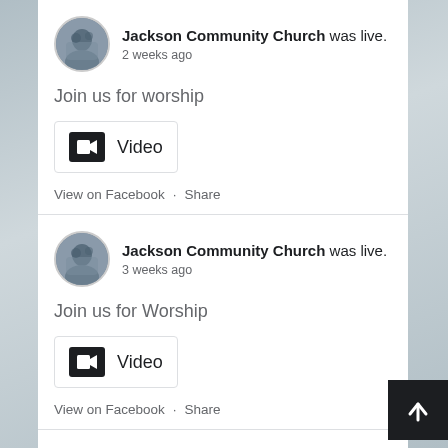Jackson Community Church was live. 2 weeks ago
Join us for worship
[Figure (other): Video icon box with label 'Video']
View on Facebook · Share
Jackson Community Church was live. 3 weeks ago
Join us for Worship
[Figure (other): Video icon box with label 'Video']
View on Facebook · Share
[Figure (other): Back to top button with upward arrow]